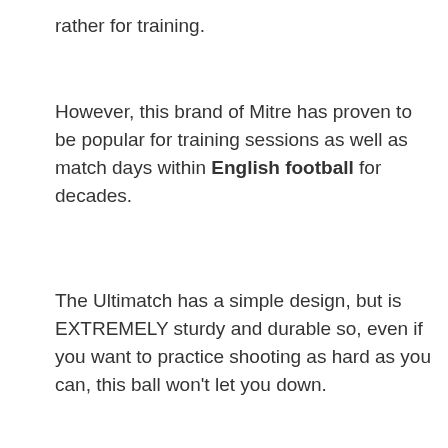rather for training.
However, this brand of Mitre has proven to be popular for training sessions as well as match days within English football for decades.
The Ultimatch has a simple design, but is EXTREMELY sturdy and durable so, even if you want to practice shooting as hard as you can, this ball won't let you down.
Also, the Ultimatch is suitable for all surfaces (grass
[Figure (infographic): Pure Earth advertisement banner with black background. Left text: 'We believe the global pollution crisis can be solved.' Middle text: 'In a world where pollution doesn't stop at borders, we can all be part of the solution. JOIN US.' Right: Pure Earth logo with triangular icon and brand name.]